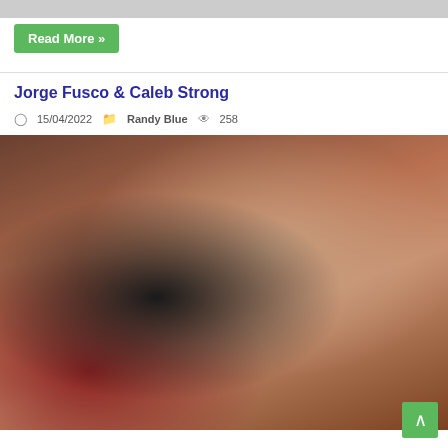[Figure (photo): Partial top image cropped at top of page]
Read More »
Jorge Fusco & Caleb Strong
15/04/2022  Randy Blue  258
[Figure (photo): Photo of two men kissing]